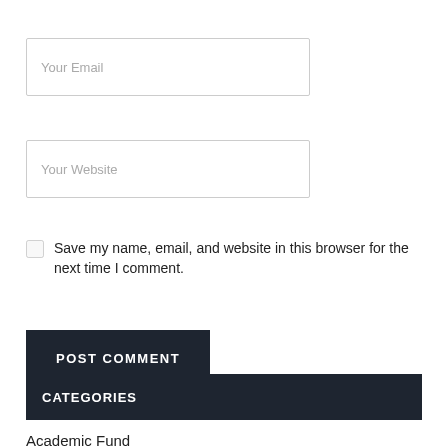Your Email
Your Website
Save my name, email, and website in this browser for the next time I comment.
POST COMMENT
CATEGORIES
Academic Fund